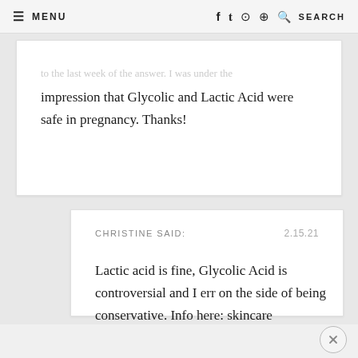≡ MENU   f  𝕥  ⊙  𝐩  🔍 SEARCH
...to the last week of the answer. I was under the impression that Glycolic and Lactic Acid were safe in pregnancy. Thanks!
CHRISTINE SAID:   2.15.21
Lactic acid is fine, Glycolic Acid is controversial and I err on the side of being conservative. Info here: skincare ingredients to avoid during pregnancy